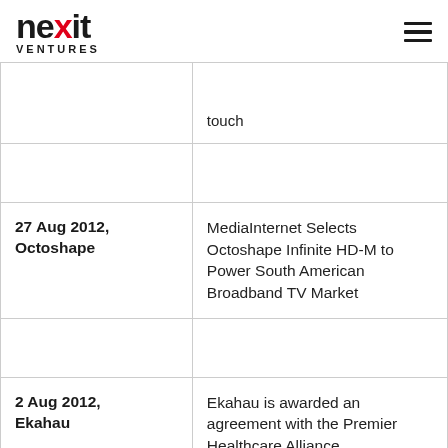nexit VENTURES
| Date / Company | Title |
| --- | --- |
|  | touch |
|  |  |
| 27 Aug 2012, Octoshape | MediaInternet Selects Octoshape Infinite HD-M to Power South American Broadband TV Market |
|  |  |
| 2 Aug 2012, Ekahau | Ekahau is awarded an agreement with the Premier Healthcare Alliance |